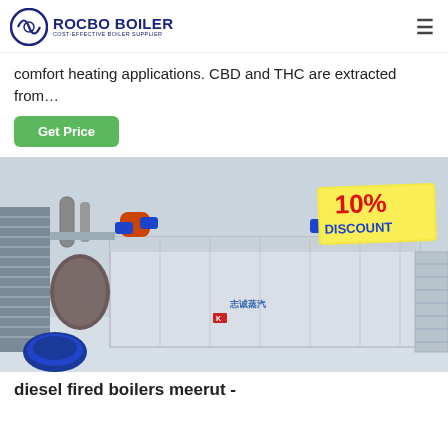ROCBO BOILER — COST-EFFECTIVE BOILER SUPPLIER
comfort heating applications. CBD and THC are extracted from…
Get Price
[Figure (photo): Industrial boiler unit installed indoors with blue burner motor, piping, metal framework, and a 10% DISCOUNT tag overlaid in the top right corner. Chinese text visible on the boiler body.]
diesel fired boilers meerut -